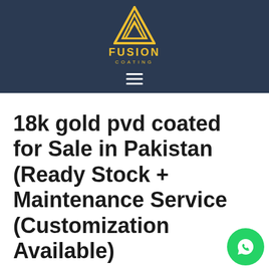[Figure (logo): Fusion Coating logo: yellow geometric triangle/mountain shape with FUSION COATING text below, on dark navy background with hamburger menu icon]
18k gold pvd coated for Sale in Pakistan (Ready Stock + Maintenance Service (Customization Available)